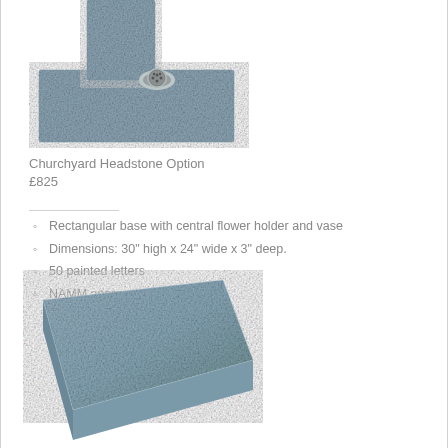[Figure (photo): Close-up photo of a grey granite churchyard headstone base with a rectangular shape and a central circular metal flower holder/vase fitting on top.]
Churchyard Headstone Option
£825
Rectangular base with central flower holder and vase
Dimensions: 30" high x 24" wide x 3" deep.
50 painted letters
NAMM approved anchor fixing
[Figure (photo): Photo of a flat rectangular grey granite slab/base stone viewed from an angle, showing the textured granite surface.]